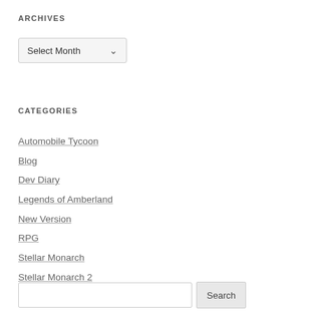ARCHIVES
[Figure (screenshot): Dropdown select box showing 'Select Month' with a chevron arrow]
CATEGORIES
Automobile Tycoon
Blog
Dev Diary
Legends of Amberland
New Version
RPG
Stellar Monarch
Stellar Monarch 2
[Figure (screenshot): Search input box with a Search button]